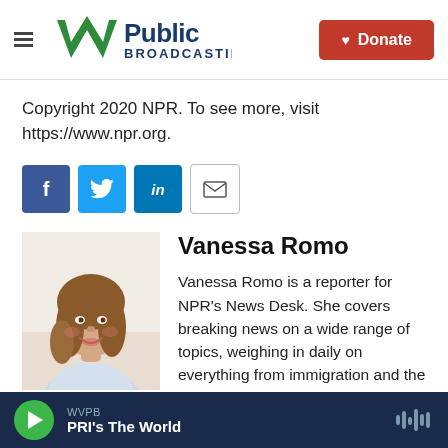[Figure (logo): WVPB Public Broadcasting logo with W checkmark and Public Broadcasting text]
Copyright 2020 NPR. To see more, visit https://www.npr.org.
[Figure (infographic): Social sharing buttons: Facebook, Twitter, LinkedIn, and email]
[Figure (photo): Headshot photo of Vanessa Romo, a reporter with long wavy hair, smiling]
Vanessa Romo
Vanessa Romo is a reporter for NPR's News Desk. She covers breaking news on a wide range of topics, weighing in daily on everything from immigration and the treatment of migrant children, to a war-
WVPB  PRI's The World